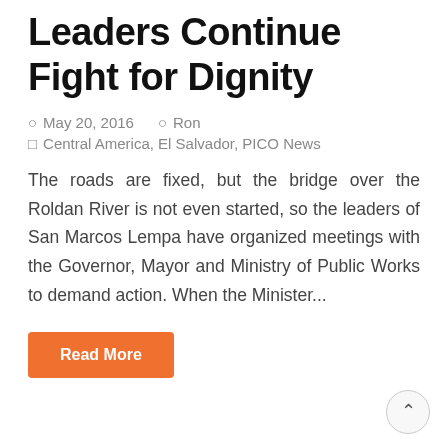Leaders Continue Fight for Dignity
May 20, 2016   Ron
Central America, El Salvador, PICO News
The roads are fixed, but the bridge over the Roldan River is not even started, so the leaders of San Marcos Lempa have organized meetings with the Governor, Mayor and Ministry of Public Works to demand action. When the Minister...
Read More